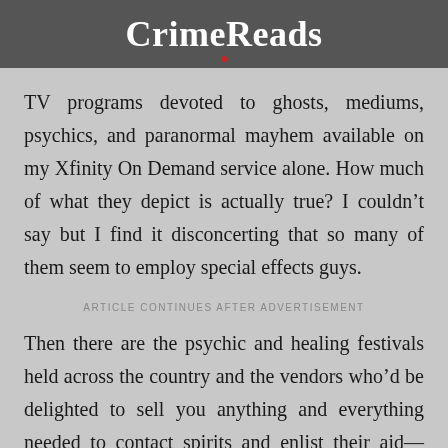CrimeReads
TV programs devoted to ghosts, mediums, psychics, and paranormal mayhem available on my Xfinity On Demand service alone. How much of what they depict is actually true? I couldn’t say but I find it disconcerting that so many of them seem to employ special effects guys.
ARTICLE CONTINUES AFTER ADVERTISEMENT
Then there are the psychic and healing festivals held across the country and the vendors who’d be delighted to sell you anything and everything needed to contact spirits and enlist their aid—electronic gear including